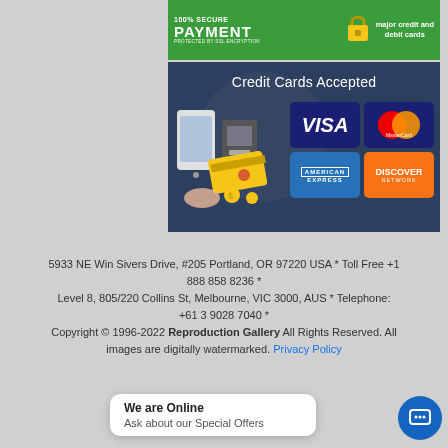[Figure (infographic): 100% Secure Payment banner with lock icon and text 'major credit and debit cards', PROTECTED BY SSL ENCRYPTION]
[Figure (infographic): Credit Cards Accepted banner showing Visa, MasterCard, American Express, and Discover Network logos on dark blue background with payment device illustration]
5933 NE Win Sivers Drive, #205 Portland, OR 97220 USA * Toll Free +1 888 858 8236 *
Level 8, 805/220 Collins St, Melbourne, VIC 3000, AUS * Telephone: +61 3 9028 7040 *
Copyright © 1996-2022 Reproduction Gallery All Rights Reserved. All images are digitally watermarked. Privacy Policy
We are Online
Ask about our Special Offers